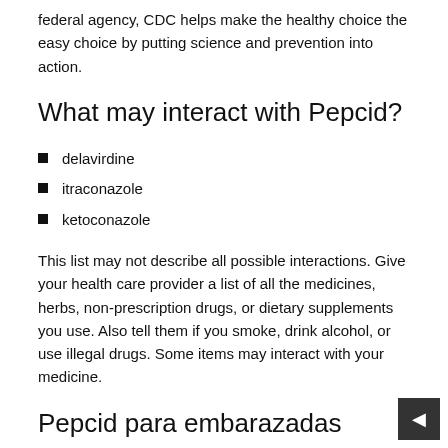federal agency, CDC helps make the healthy choice the easy choice by putting science and prevention into action.
What may interact with Pepcid?
delavirdine
itraconazole
ketoconazole
This list may not describe all possible interactions. Give your health care provider a list of all the medicines, herbs, non-prescription drugs, or dietary supplements you use. Also tell them if you smoke, drink alcohol, or use illegal drugs. Some items may interact with your medicine.
Pepcid para embarazadas